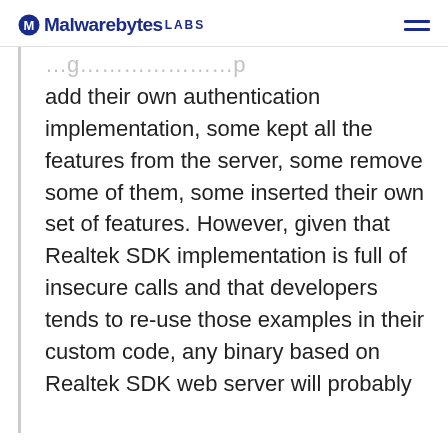Malwarebytes LABS
add their own authentication implementation, some kept all the features from the server, some remove some of them, some inserted their own set of features. However, given that Realtek SDK implementation is full of insecure calls and that developers tends to re-use those examples in their custom code, any binary based on Realtek SDK web server will probably